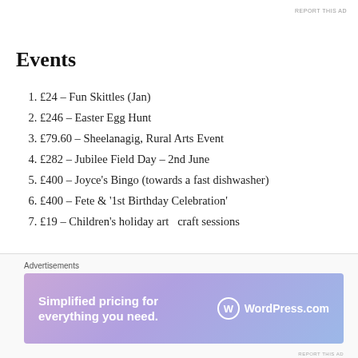REPORT THIS AD
Events
£24 – Fun Skittles (Jan)
£246 – Easter Egg Hunt
£79.60 – Sheelanagig, Rural Arts Event
£282 – Jubilee Field Day – 2nd June
£400 – Joyce's Bingo (towards a fast dishwasher)
£400 – Fete & '1st Birthday Celebration'
£19 – Children's holiday art  craft sessions
8. £140 – Back to School Sports Day
Advertisements
[Figure (screenshot): WordPress.com advertisement banner: 'Simplified pricing for everything you need.' with WordPress.com logo on gradient purple-blue background]